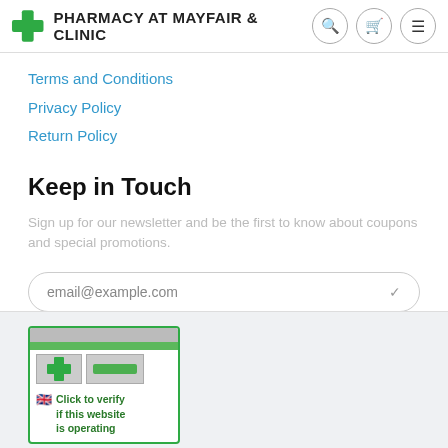PHARMACY AT MAYFAIR & CLINIC
Terms and Conditions
Privacy Policy
Return Policy
Keep in Touch
Sign up for our newsletter and be the first to know about coupons and special promotions.
email@example.com
[Figure (logo): Pharmacy verification badge with green cross logo and 'Click to verify if this website is operating' text with UK flag]